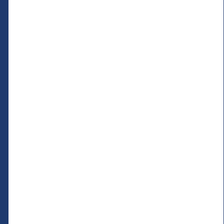Roman army from Constantinople, settled along the Danube, and then pushed into Italy. In 409 the Romans gave them southwestern Gaul. Fr... The Ostrogoths broke away from Hunnish... encouraged to invade by the Eastern empe... king of modern Switzerland and the Balkan... kingdom did not last long following his dea... army to Italy in 536 led by their great gene... Empire in the West. The war dragged on, c... Ostrogoths were finally defeated in Italy. Th... Italy was invaded by a new group of barba... late fifth century Clovis of the Franks pushe... death of Clovis his kingdom fragmented ar... south. Islamic armies crossed over from N... remembered for being the first to sack Ro... Their admiration for Rome and attempts to... the modern languages of Italy, France, Spa... are not variations of German, as was the c...